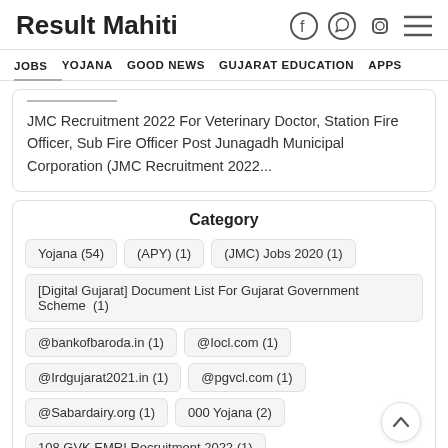Result Mahiti
JOBS   YOJANA   GOOD NEWS   GUJARAT EDUCATION   APPS
JMC Recruitment 2022 For Veterinary Doctor, Station Fire Officer, Sub Fire Officer Post Junagadh Municipal Corporation (JMC Recruitment 2022...
Category
Yojana (54)
(APY) (1)
(JMC) Jobs 2020 (1)
[Digital Gujarat] Document List For Gujarat Government Scheme (1)
@bankofbaroda.in (1)
@Iocl.com (1)
@Irdgujarat2021.in (1)
@pgvcl.com (1)
@Sabardairy.org (1)
000 Yojana (2)
108 GVK EMRI Recruitment 2022 (1)